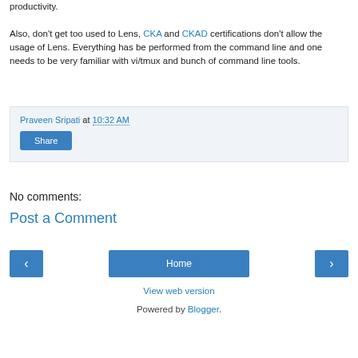productivity. Also, don't get too used to Lens, CKA and CKAD certifications don't allow the usage of Lens. Everything has be performed from the command line and one needs to be very familiar with vi/tmux and bunch of command line tools.
Praveen Sripati at 10:32 AM
Share
No comments:
Post a Comment
Home
View web version
Powered by Blogger.